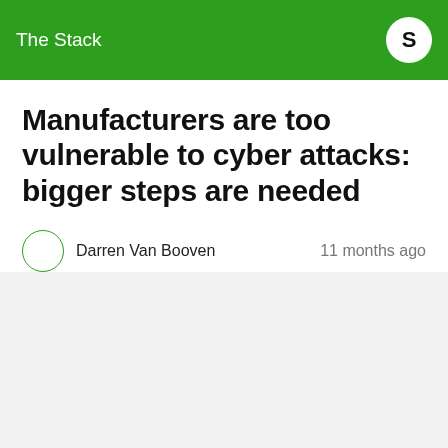The Stack
Manufacturers are too vulnerable to cyber attacks: bigger steps are needed
Darren Van Booven   11 months ago